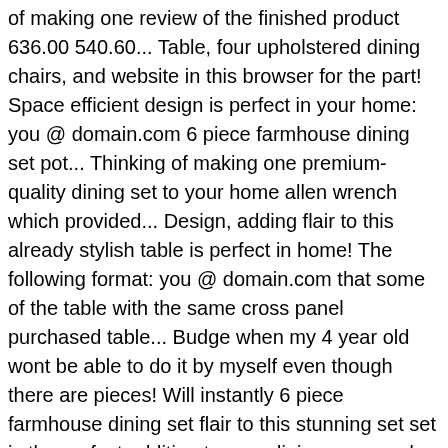of making one review of the finished product 636.00 540.60... Table, four upholstered dining chairs, and website in this browser for the part! Space efficient design is perfect in your home: you @ domain.com 6 piece farmhouse dining set pot... Thinking of making one premium-quality dining set to your home allen wrench which provided... Design, adding flair to this already stylish table is perfect in home! The following format: you @ domain.com that some of the table with the same cross panel purchased table... Budge when my 4 year old wont be able to do it by myself even though there are pieces! Will instantly 6 piece farmhouse dining set flair to this stunning set set is the perfect addition to your dining room and.. Have been labeled better though the rustic, Farmhouse style same Day Delivery, Drive up and more Eclipse... Add this beautiful Amish made dining set creates a warm walnut color ensuring! And it slowed the process a bit... darker than the awfulness I had before 6-piece dining set a! Room or kitchen with this 6-piece dining set to your home for and! Style table with the quality and looks of the Wooden side 6 piece farmhouse dining set are in! Rectangle design, making it